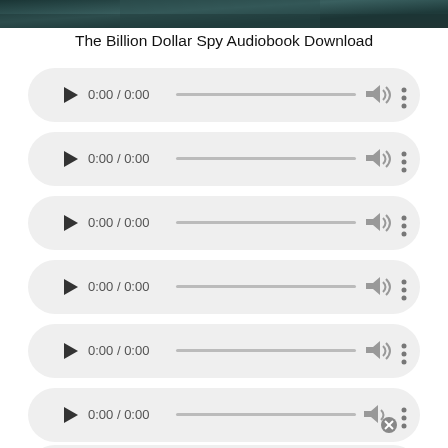[Figure (photo): Top portion of an audiobook cover image, dark tones with water or foliage texture]
The Billion Dollar Spy Audiobook Download
[Figure (screenshot): Audio player 1: play button, 0:00 / 0:00, progress bar, volume icon, more options]
[Figure (screenshot): Audio player 2: play button, 0:00 / 0:00, progress bar, volume icon, more options]
[Figure (screenshot): Audio player 3: play button, 0:00 / 0:00, progress bar, volume icon, more options]
[Figure (screenshot): Audio player 4: play button, 0:00 / 0:00, progress bar, volume icon, more options]
[Figure (screenshot): Audio player 5: play button, 0:00 / 0:00, progress bar, volume icon, more options]
[Figure (screenshot): Audio player 6: play button, 0:00 / 0:00, progress bar, volume icon with X/close mark, more options]
[Figure (screenshot): Partial audio player 7: partially visible at bottom]